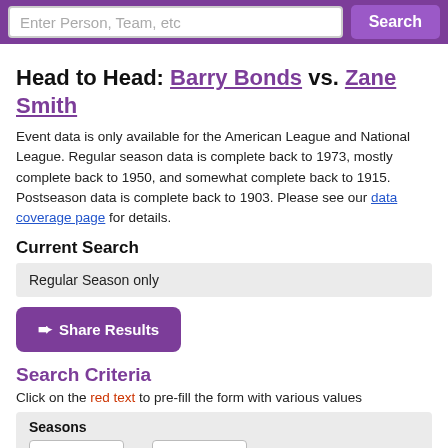Enter Person, Team, etc   Search
Head to Head: Barry Bonds vs. Zane Smith
Event data is only available for the American League and National League. Regular season data is complete back to 1973, mostly complete back to 1950, and somewhat complete back to 1915. Postseason data is complete back to 1903. Please see our data coverage page for details.
Current Search
Regular Season only
➨ Share Results
Search Criteria
Click on the red text to pre-fill the form with various values
Seasons
Any   to   Any